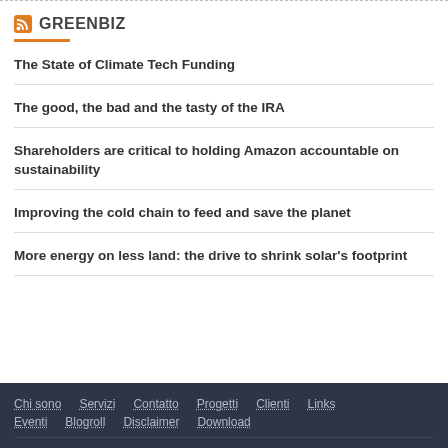GREENBIZ
The State of Climate Tech Funding
The good, the bad and the tasty of the IRA
Shareholders are critical to holding Amazon accountable on sustainability
Improving the cold chain to feed and save the planet
More energy on less land: the drive to shrink solar's footprint
Chi sono  Servizi  Contatto  Progetti  Clienti  Links  Eventi  Blogroll  Disclaimer  Download